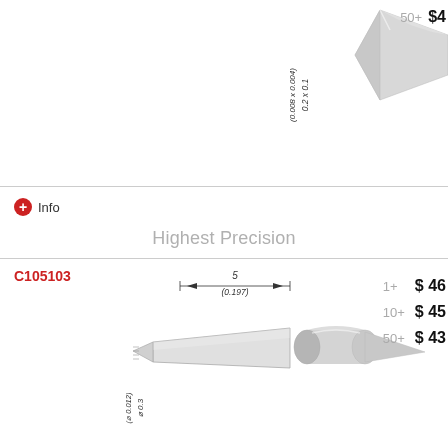[Figure (engineering-diagram): Cropped top portion showing a fine point soldering tip diagram with dimension 0.2 x 0.1 (0.008 x 0.004) and 3D render, with mm/(in) label]
mm
(in)
Info
Highest Precision
C105103
[Figure (engineering-diagram): Technical drawing of C105103 soldering tip showing length 5 (0.197) and diameter 0.3 (0.012) with dimension lines, plus 3D render of the conical tip]
1+  $ 46
10+  $ 45
50+  $ 43
mm
(in)
Info
C105117
[Figure (engineering-diagram): Technical drawing of C105117 soldering tip showing length 5 (0.197) with dimension lines and partial 3D render]
1+  $ 46
10+  $ 45